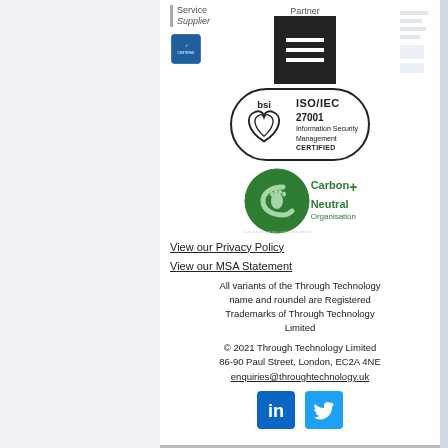[Figure (logo): Service Supplier text with vertical bar, small certified badge, Partner text, and navigation menu block]
[Figure (logo): BSI ISO/IEC 27001 Information Security Management CERTIFIED badge with heart logo inside oval border]
[Figure (logo): Carbon footprint standard Carbon Neutral+ Organisation badge with green circle logo]
View our Privacy Policy
View our MSA Statement
All variants of the Through Technology name and roundel are Registered Trademarks of Through Technology Limited
© 2021 Through Technology Limited
86-90 Paul Street, London, EC2A 4NE
enquiries@throughtechnology.uk
[Figure (logo): LinkedIn and Twitter social media icons]